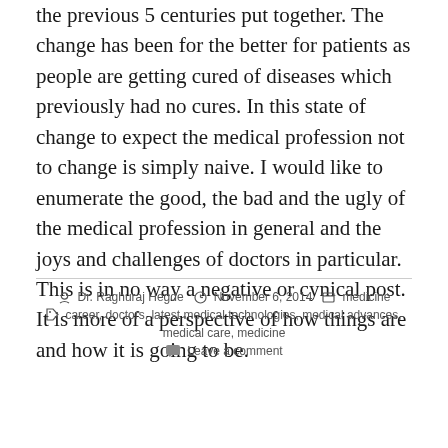the previous 5 centuries put together. The change has been for the better for patients as people are getting cured of diseases which previously had no cures. In this state of change to expect the medical profession not to change is simply naive. I would like to enumerate the good, the bad and the ugly of the medical profession in general and the joys and challenges of doctors in particular. This is in no way a negative or cynical post. It is more of a perspective of how things are and how it is going to be.
By Dr. Raghuraj Hegde | November 6, 2014 | medicine | career, doctors, latest medical technologies, medical advances, medical care, medicine | Leave a comment